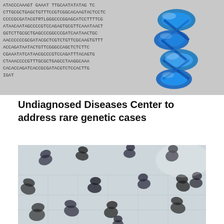[Figure (photo): DNA sequence text background with a blue 3D DNA double helix model overlaid on the right side]
Undiagnosed Diseases Center to address rare genetic cases
[Figure (photo): Aerial/overhead view of a crowd of people walking in a public space, shot from above with motion blur effect, people dressed in dark clothing on a light tiled floor]